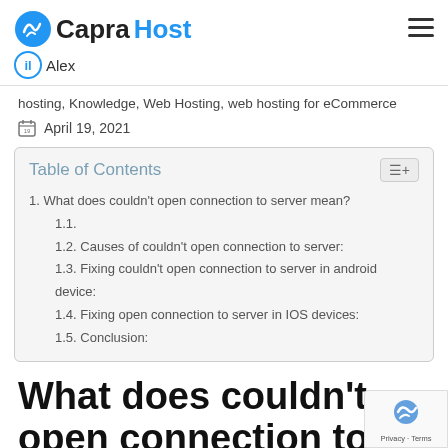CapraHost — Alex
hosting, Knowledge, Web Hosting, web hosting for eCommerce
April 19, 2021
| Table of Contents |
| --- |
| 1. What does couldn't open connection to server mean? |
| 1.1. |
| 1.2. Causes of couldn't open connection to server: |
| 1.3. Fixing couldn't open connection to server in android device: |
| 1.4. Fixing open connection to server in IOS devices: |
| 1.5. Conclusion: |
What does couldn't open connection to